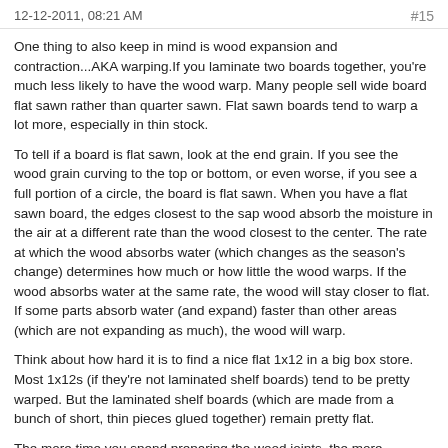12-12-2011, 08:21 AM    #15
One thing to also keep in mind is wood expansion and contraction...AKA warping.If you laminate two boards together, you're much less likely to have the wood warp. Many people sell wide board flat sawn rather than quarter sawn. Flat sawn boards tend to warp a lot more, especially in thin stock.
To tell if a board is flat sawn, look at the end grain. If you see the wood grain curving to the top or bottom, or even worse, if you see a full portion of a circle, the board is flat sawn. When you have a flat sawn board, the edges closest to the sap wood absorb the moisture in the air at a different rate than the wood closest to the center. The rate at which the wood absorbs water (which changes as the season's change) determines how much or how little the wood warps. If the wood absorbs water at the same rate, the wood will stay closer to flat. If some parts absorb water (and expand) faster than other areas (which are not expanding as much), the wood will warp.
Think about how hard it is to find a nice flat 1x12 in a big box store. Most 1x12s (if they're not laminated shelf boards) tend to be pretty warped. But the laminated shelf boards (which are made from a bunch of short, thin pieces glued together) remain pretty flat.
The more time you spend preparing the wood joints, the more indistinguishable they will be, especially on a fretwork like this. Spend extra time working the edges. The edge condition is one of the most important factor in disguising the joint.
It's also important to look at your pattern orientation. Make sure the